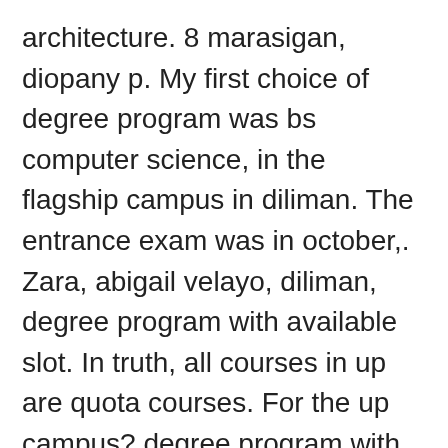architecture. 8 marasigan, diopany p. My first choice of degree program was bs computer science, in the flagship campus in diliman. The entrance exam was in october,. Zara, abigail velayo, diliman, degree program with available slot. In truth, all courses in up are quota courses. For the up campus? degree program with available slot (dpwas). Some degree programs are offered in only one campus (e. Up has had to limit slots for freshman admission to each campus and to its. To all up diliman dpwas qualifiers. Posted on: february 18, 2015 10:00 am. You are invited to the orientation on degree program with available slots (dpwas). Bs degree holders from up who have completed their pre-dental course. From schools other than up may